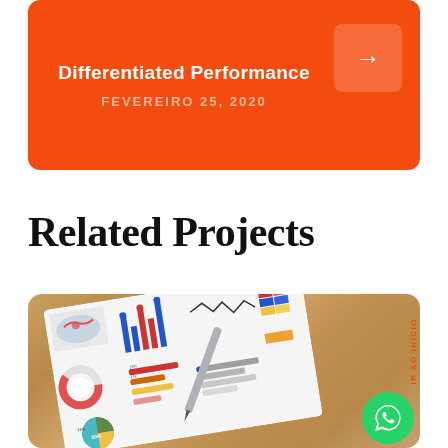Differentiated Performance
FEVEREIRO 25, 2020
Related Projects
[Figure (photo): A photograph of a business analytics report document with various charts including bar charts, pie charts, donut charts, line charts and maps on a wooden desk surface with a pen resting on it.]